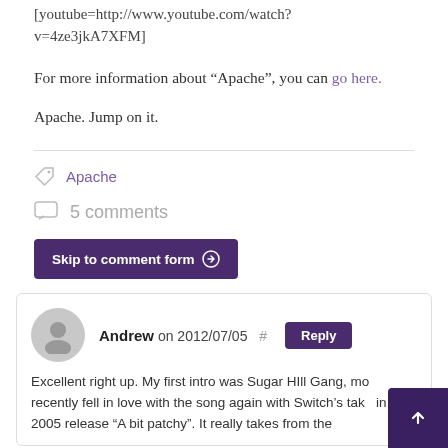[youtube=http://www.youtube.com/watch?v=4ze3jkA7XFM]
For more information about “Apache”, you can go here.
Apache. Jump on it.
Apache
5 comments
Skip to comment form
Andrew on 2012/07/05 # Reply
Excellent right up. My first intro was Sugar HIll Gang, more recently fell in love with the song again with Switch’s take in his 2005 release “A bit patchy”. It really takes from the